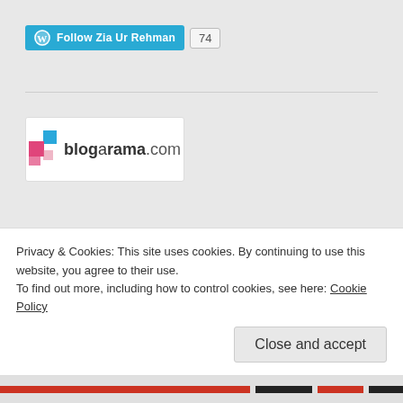[Figure (logo): WordPress Follow button for 'Zia Ur Rehman' with follower count 74]
[Figure (logo): Blogarama.com logo with pink and blue squares graphic]
RSS LINKS
RSS - Posts
Advertisements
Privacy & Cookies: This site uses cookies. By continuing to use this website, you agree to their use.
To find out more, including how to control cookies, see here: Cookie Policy
Close and accept